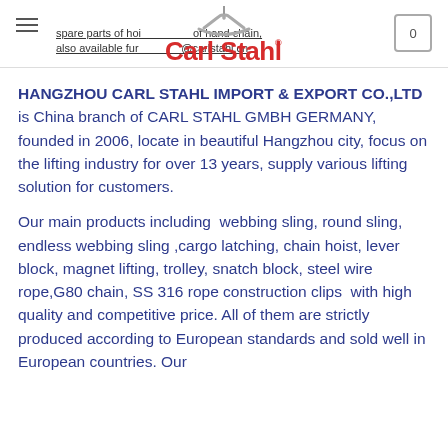spare parts of hoist, spare parts of hand chain, also available further information: info@carlstahl.cn
[Figure (logo): Carl Stahl logo with hanger icon above and registered trademark symbol]
HANGZHOU CARL STAHL IMPORT & EXPORT CO.,LTD is China branch of CARL STAHL GMBH GERMANY, founded in 2006, locate in beautiful Hangzhou city, focus on the lifting industry for over 13 years, supply various lifting solution for customers.
Our main products including webbing sling, round sling, endless webbing sling ,cargo latching, chain hoist, lever block, magnet lifting, trolley, snatch block, steel wire rope,G80 chain, SS 316 rope construction clips with high quality and competitive price. All of them are strictly produced according to European standards and sold well in European countries. Our